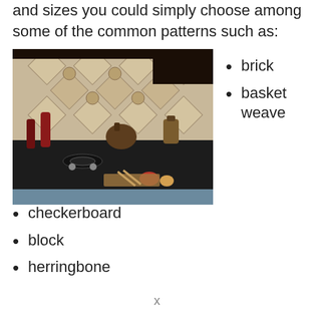and sizes you could simply choose among some of the common patterns such as:
[Figure (photo): Kitchen backsplash with decorative tile pattern in a diamond/checkerboard arrangement. Countertop with stove, red bottles, a teapot, and vegetables visible.]
brick
basket weave
checkerboard
block
herringbone
x